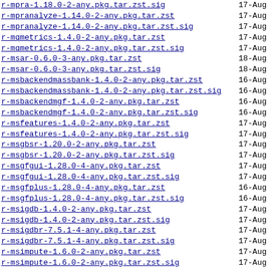r-mpra-1.18.0-2-any.pkg.tar.zst.sig	17-Aug
r-mpranalyze-1.14.0-2-any.pkg.tar.zst	17-Aug
r-mpranalyze-1.14.0-2-any.pkg.tar.zst.sig	17-Aug
r-mqmetrics-1.4.0-2-any.pkg.tar.zst	17-Aug
r-mqmetrics-1.4.0-2-any.pkg.tar.zst.sig	17-Aug
r-msar-0.6.0-3-any.pkg.tar.zst	18-Aug
r-msar-0.6.0-3-any.pkg.tar.zst.sig	18-Aug
r-msbackendmassbank-1.4.0-2-any.pkg.tar.zst	16-Aug
r-msbackendmassbank-1.4.0-2-any.pkg.tar.zst.sig	16-Aug
r-msbackendmgf-1.4.0-2-any.pkg.tar.zst	16-Aug
r-msbackendmgf-1.4.0-2-any.pkg.tar.zst.sig	16-Aug
r-msfeatures-1.4.0-2-any.pkg.tar.zst	17-Aug
r-msfeatures-1.4.0-2-any.pkg.tar.zst.sig	17-Aug
r-msgbsr-1.20.0-2-any.pkg.tar.zst	17-Aug
r-msgbsr-1.20.0-2-any.pkg.tar.zst.sig	17-Aug
r-msgfgui-1.28.0-4-any.pkg.tar.zst	17-Aug
r-msgfgui-1.28.0-4-any.pkg.tar.zst.sig	17-Aug
r-msgfplus-1.28.0-4-any.pkg.tar.zst	16-Aug
r-msgfplus-1.28.0-4-any.pkg.tar.zst.sig	16-Aug
r-msigdb-1.4.0-2-any.pkg.tar.zst	17-Aug
r-msigdb-1.4.0-2-any.pkg.tar.zst.sig	17-Aug
r-msigdbr-7.5.1-4-any.pkg.tar.zst	17-Aug
r-msigdbr-7.5.1-4-any.pkg.tar.zst.sig	17-Aug
r-msimpute-1.6.0-2-any.pkg.tar.zst	17-Aug
r-msimpute-1.6.0-2-any.pkg.tar.zst.sig	17-Aug
r-msmseda-1.34.0-2-any.pkg.tar.zst	17-Aug
r-msmseda-1.34.0-2-any.pkg.tar.zst.sig	17-Aug
r-msmstests-1.34.0-2-any.pkg.tar.zst	17-Aug
r-msmstests-1.34.0-2-any.pkg.tar.zst.sig	17-Aug
r-msnid-1.30.0-2-any.pkg.tar.zst	17-Aug
r-msnid-1.30.0-2-any.pkg.tar.zst.sig	17-Aug